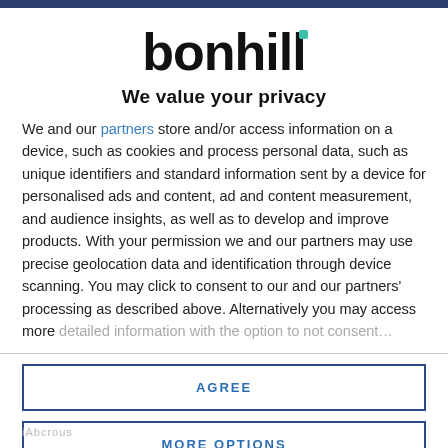bonhill
We value your privacy
We and our partners store and/or access information on a device, such as cookies and process personal data, such as unique identifiers and standard information sent by a device for personalised ads and content, ad and content measurement, and audience insights, as well as to develop and improve products. With your permission we and our partners may use precise geolocation data and identification through device scanning. You may click to consent to our and our partners' processing as described above. Alternatively you may access more detailed information...
AGREE
MORE OPTIONS